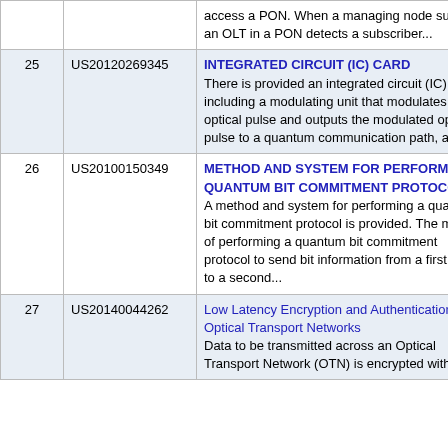| # | Patent Number | Title / Abstract |
| --- | --- | --- |
|  |  | access a PON. When a managing node such as an OLT in a PON detects a subscriber... |
| 25 | US20120269345 | INTEGRATED CIRCUIT (IC) CARD
There is provided an integrated circuit (IC) card including a modulating unit that modulates an optical pulse and outputs the modulated optical pulse to a quantum communication path, a... |
| 26 | US20100150349 | METHOD AND SYSTEM FOR PERFORMING QUANTUM BIT COMMITMENT PROTOCOL
A method and system for performing a quantum bit commitment protocol is provided. The method of performing a quantum bit commitment protocol to send bit information from a first party to a second... |
| 27 | US20140044262 | Low Latency Encryption and Authentication in Optical Transport Networks
Data to be transmitted across an Optical Transport Network (OTN) is encrypted with |